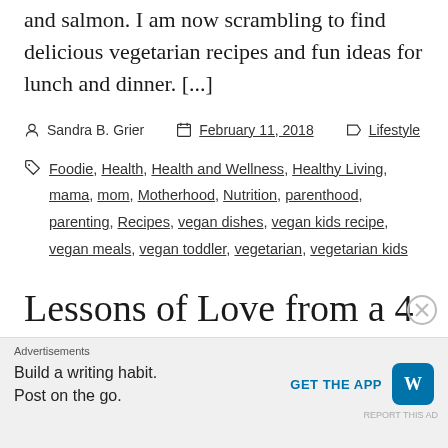and salmon. I am now scrambling to find delicious vegetarian recipes and fun ideas for lunch and dinner. [...]
Sandra B. Grier  |  February 11, 2018  |  Lifestyle
Foodie, Health, Health and Wellness, Healthy Living, mama, mom, Motherhood, Nutrition, parenthood, parenting, Recipes, vegan dishes, vegan kids recipe, vegan meals, vegan toddler, vegetarian, vegetarian kids
Lessons of Love from a 4
Advertisements
Build a writing habit. Post on the go.
GET THE APP